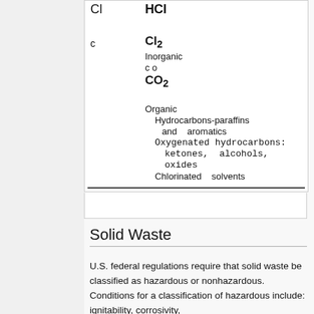|  |  |
| --- | --- |
| Cl | HCl |
| c | Cl₂
Inorganic
c o
CO₂

Organic
Hydrocarbons-paraffins and aromatics
Oxygenated hydrocarbons: ketones, alcohols, oxides
Chlorinated solvents |
Solid Waste
U.S. federal regulations require that solid waste be classified as hazardous or nonhazardous. Conditions for a classification of hazardous include: ignitability, corrosivity,